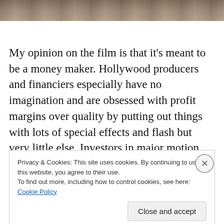[Figure (photo): Partial photo strip at top of page showing people, cropped]
My opinion on the film is that it’s meant to be a money maker. Hollywood producers and financiers especially have no imagination and are obsessed with profit margins over quality by putting out things with lots of special effects and flash but very little else. Investors in major motion picture projects like this one want a sure thing so that they
Privacy & Cookies: This site uses cookies. By continuing to use this website, you agree to their use.
To find out more, including how to control cookies, see here: Cookie Policy
Close and accept